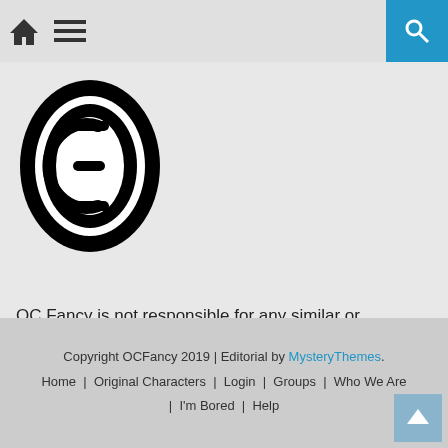Home menu search navigation bar
[Figure (logo): OC Fancy logo — a stylized letter C inside an oval, bold black on white, with concentric ring design]
OC Fancy is not responsible for any similar or duplicated works
Copyright OCFancy 2019 | Editorial by MysteryThemes. Home | Original Characters | Login | Groups | Who We Are | I'm Bored | Help